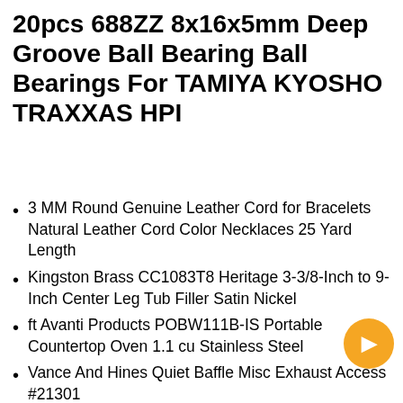20pcs 688ZZ 8x16x5mm Deep Groove Ball Bearing Ball Bearings For TAMIYA KYOSHO TRAXXAS HPI
3 MM Round Genuine Leather Cord for Bracelets Natural Leather Cord Color Necklaces 25 Yard Length
Kingston Brass CC1083T8 Heritage 3-3/8-Inch to 9-Inch Center Leg Tub Filler Satin Nickel
ft Avanti Products POBW111B-IS Portable Countertop Oven 1.1 cu Stainless Steel
Vance And Hines Quiet Baffle Misc Exhaust Access #21301
MAHLE Original F32088 Catalytic Converter Gasket Pink Sparkling bow tie Pink Light gold pre-tied bow tie